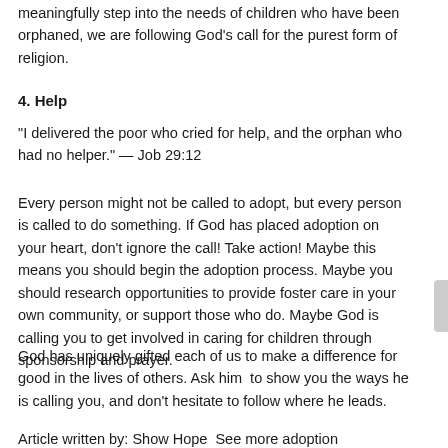meaningfully step into the needs of children who have been orphaned, we are following God's call for the purest form of religion.
4. Help
"I delivered the poor who cried for help, and the orphan who had no helper." — Job 29:12
Every person might not be called to adopt, but every person is called to do something. If God has placed adoption on your heart, don't ignore the call! Take action! Maybe this means you should begin the adoption process. Maybe you should research opportunities to provide foster care in your own community, or support those who do. Maybe God is calling you to get involved in caring for children through sponsorship and prayer.
God has uniquely gifted each of us to make a difference for good in the lives of others. Ask him  to show you the ways he is calling you, and don't hesitate to follow where he leads.
Article written by: Show Hope  See more adoption